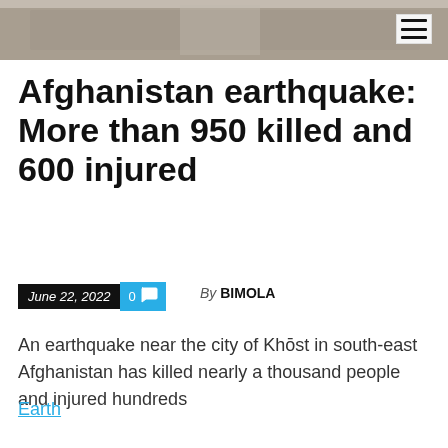[Figure (photo): Partial top of an image showing a scene related to the Afghanistan earthquake, cropped at the bottom of the visible header area.]
Afghanistan earthquake: More than 950 killed and 600 injured
June 22, 2022  0  By BIMOLA
An earthquake near the city of Khōst in south-east Afghanistan has killed nearly a thousand people and injured hundreds
Earth